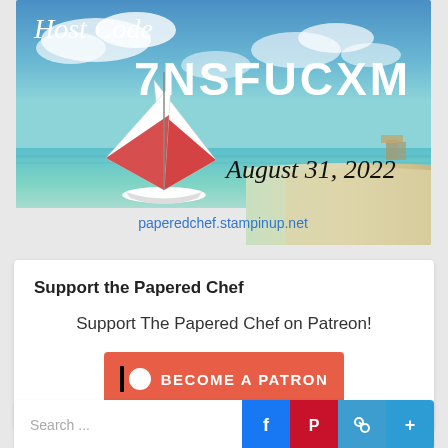[Figure (photo): Promotional banner image showing a sailboat on turquoise ocean water with white sandy beach. Text overlay reads 'Host Code 7NSFUCXM August 31, 2022 paperedchef.stampinup.net']
Support the Papered Chef
Support The Papered Chef on Patreon!
[Figure (other): Patreon button: BECOME A PATRON in coral/red color with Patreon logo icon]
Search ...